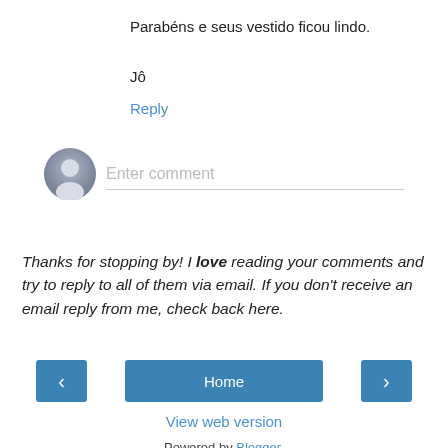Parabéns e seus vestido ficou lindo.
Jô
Reply
[Figure (other): Comment input area with avatar icon and 'Enter comment' placeholder text]
Thanks for stopping by! I love reading your comments and try to reply to all of them via email. If you don't receive an email reply from me, check back here.
[Figure (other): Navigation buttons: left arrow, Home, right arrow]
View web version
Powered by Blogger.